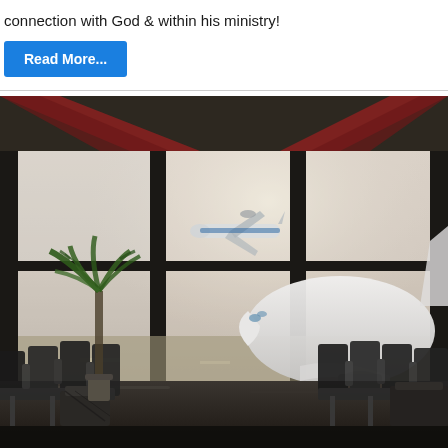connection with God & within his ministry!
[Figure (other): Blue rectangular 'Read More...' button]
[Figure (photo): Airport terminal interior with large floor-to-ceiling windows, a palm plant, rows of black leather seating on both sides, and two aircraft visible outside — one in foreground close-up and one taking off in the background. Architectural red structural beams frame the ceiling.]